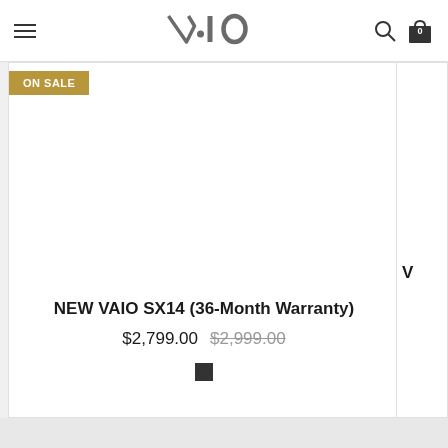VAIO - navigation header with hamburger menu, VAIO logo, search icon, and cart (0)
ON SALE
[Figure (photo): Product image area for VAIO SX14 laptop (blank/white)]
NEW VAIO SX14 (36-Month Warranty)
$2,799.00  $2,999.00
[Figure (other): Black color swatch square]